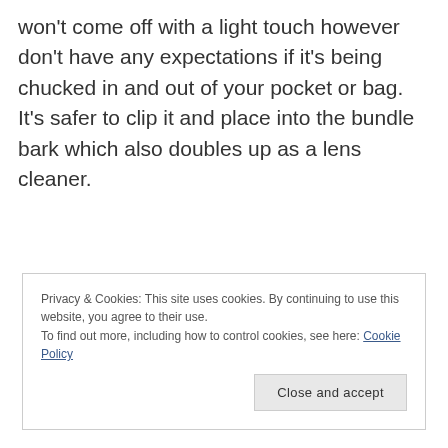won't come off with a light touch however don't have any expectations if it's being chucked in and out of your pocket or bag. It's safer to clip it and place into the bundle bark which also doubles up as a lens cleaner.
Privacy & Cookies: This site uses cookies. By continuing to use this website, you agree to their use. To find out more, including how to control cookies, see here: Cookie Policy